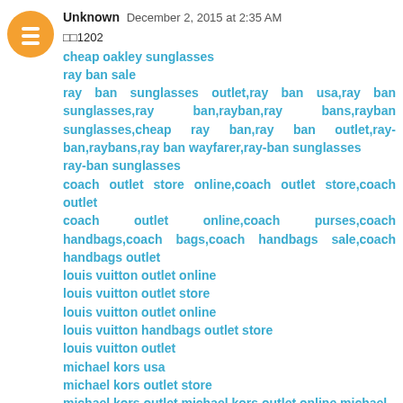Unknown  December 2, 2015 at 2:35 AM
□□1202
cheap oakley sunglasses
ray ban sale
ray ban sunglasses outlet,ray ban usa,ray ban sunglasses,ray ban,rayban,ray bans,rayban sunglasses,cheap ray ban,ray ban outlet,ray-ban,raybans,ray ban wayfarer,ray-ban sunglasses
ray-ban sunglasses
coach outlet store online,coach outlet store,coach outlet
coach outlet online,coach purses,coach handbags,coach bags,coach handbags sale,coach handbags outlet
louis vuitton outlet online
louis vuitton outlet store
louis vuitton outlet online
louis vuitton handbags outlet store
louis vuitton outlet
michael kors usa
michael kors outlet store
michael kors outlet,michael kors outlet online,michael